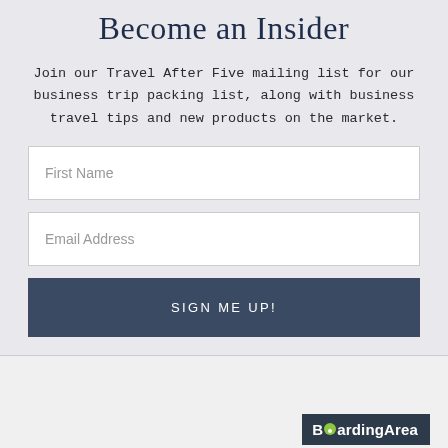Become an Insider
Join our Travel After Five mailing list for our business trip packing list, along with business travel tips and new products on the market.
[Figure (screenshot): Web form with First Name input field, Email Address input field, and a dark blue SIGN ME UP! button]
[Figure (logo): BoardingArea logo - dark navy background with white bold text reading BoardingArea, with a green speech bubble dot replacing the letter o in Boarding]